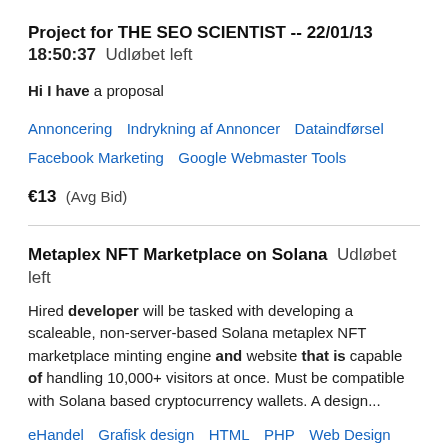Project for THE SEO SCIENTIST -- 22/01/13 18:50:37  Udløbet left
Hi I have a proposal
Annoncering   Indrykning af Annoncer   Dataindførsel   Facebook Marketing   Google Webmaster Tools
€13  (Avg Bid)
Metaplex NFT Marketplace on Solana  Udløbet left
Hired developer will be tasked with developing a scaleable, non-server-based Solana metaplex NFT marketplace minting engine and website that is capable of handling 10,000+ visitors at once. Must be compatible with Solana based cryptocurrency wallets. A design...
eHandel   Grafisk design   HTML   PHP   Web Design